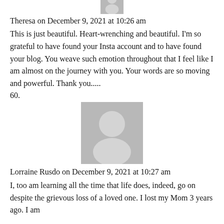[Figure (illustration): Partial avatar placeholder icon at top of page (cropped)]
Theresa on December 9, 2021 at 10:26 am
This is just beautiful. Heart-wrenching and beautiful. I'm so grateful to have found your Insta account and to have found your blog. You weave such emotion throughout that I feel like I am almost on the journey with you. Your words are so moving and powerful. Thank you.....
60.
[Figure (illustration): Gray avatar placeholder icon with silhouette of a person]
Lorraine Rusdo on December 9, 2021 at 10:27 am
I, too am learning all the time that life does, indeed, go on despite the grievous loss of a loved one. I lost my Mom 3 years ago. I am